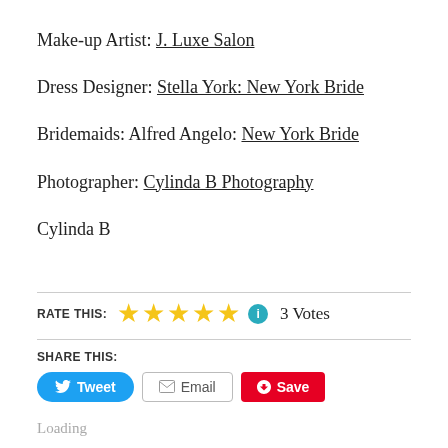Make-up Artist: J. Luxe Salon
Dress Designer: Stella York: New York Bride
Bridemaids: Alfred Angelo: New York Bride
Photographer: Cylinda B Photography
Cylinda B
RATE THIS: ★★★★★ ℹ 3 Votes
SHARE THIS:
Tweet  Email  Save
Loading